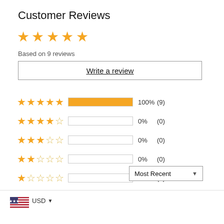Customer Reviews
[Figure (other): Five gold stars rating display]
Based on 9 reviews
Write a review
[Figure (bar-chart): Rating distribution]
Most Recent
12/22/2021
...dley Blick